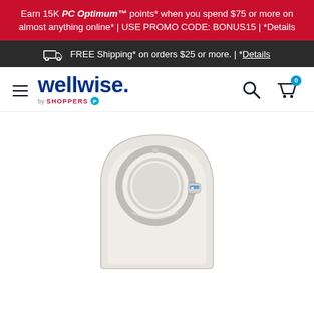Earn 15K PC Optimum™ points* when you spend $75 or more on almost anything online* | USE PROMO CODE: BONUS15 | *Details
FREE Shipping* on orders $25 or more. | *Details
[Figure (logo): Wellwise by Shoppers Drug Mart logo with hamburger menu icon]
[Figure (photo): Medical ostomy pouch/bag product with a circular flange ring and locking mechanism shown from the back, white and light grey coloring]